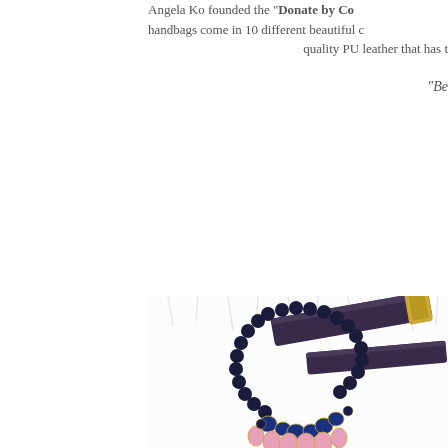Angela Ko founded the "Donate by Co..." handbags come in 10 different beautiful c... quality PU leather that has t...
"Be...
[Figure (photo): Photo of fashion accessories including a dark navy beaded necklace with pink and blue gemstone cluster, a dark purple/navy leather belt with gold buckle, arranged on a white fur surface.]